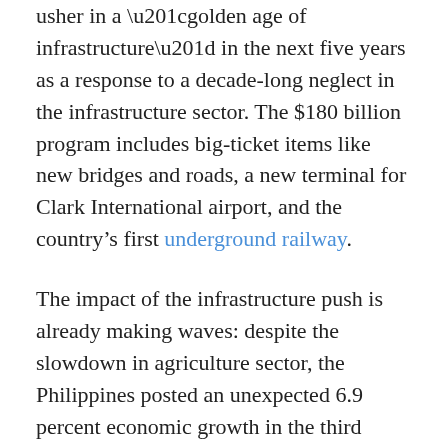usher in a “golden age of infrastructure” in the next five years as a response to a decade-long neglect in the infrastructure sector. The $180 billion program includes big-ticket items like new bridges and roads, a new terminal for Clark International airport, and the country’s first underground railway.
The impact of the infrastructure push is already making waves: despite the slowdown in agriculture sector, the Philippines posted an unexpected 6.9 percent economic growth in the third quarter of 2017, plunging it ahead of China and other neighboring ASEAN countries.